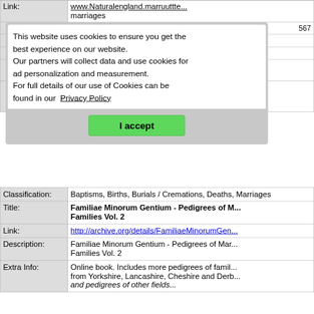marriages
This website uses cookies to ensure you get the best experience on our website.
Our partners will collect data and use cookies for ad personalization and measurement.
For full details of our use of Cookies can be found in our Privacy Policy
I accept
|  |  |
| --- | --- |
| Classification: | Baptisms, Births, Burials / Cremations, Deaths, Marriages |
| Title: | Familiae Minorum Gentium - Pedigrees of Minor Families Vol. 2 |
| Link: | http://archive.org/details/FamiliaeMinorumGen... |
| Description: | Familiae Minorum Gentium - Pedigrees of Mar... Families Vol. 2 |
| Extra Info: | Online book. Includes more pedigrees of famil... from Yorkshire, Lancashire, Cheshire and Derb... |